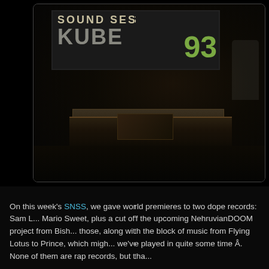[Figure (photo): A DJ performing on a dark stage in front of a KUBE 93 Sound Sessions banner. The DJ stands behind DJ equipment/turntables. The scene is dimly lit with dark background.]
On this week's SNSS, we gave world premieres to two dope records: Sam L... Mario Sweet, plus a cut off the upcoming NehruvianDOOM project from Bish... those, along with the block of music from Flying Lotus to Prince, which migh... we've played in quite some time Â. None of them are rap records, but tha...